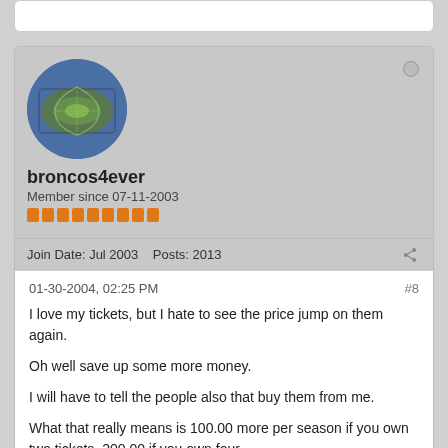[Figure (screenshot): Forum post card showing user broncos4ever with avatar, username, member since date, reputation bars, join date, and post count]
broncos4ever
Member since 07-11-2003
Join Date: Jul 2003    Posts: 2013
01-30-2004, 02:25 PM
#8
I love my tickets, but I hate to see the price jump on them again.
Oh well save up some more money.
I will have to tell the people also that buy them from me.
What that really means is 100.00 more per season if you own two tickets. 200.00 if you own four.
Go Broncos!!! 🏀 - Hosea 10:12